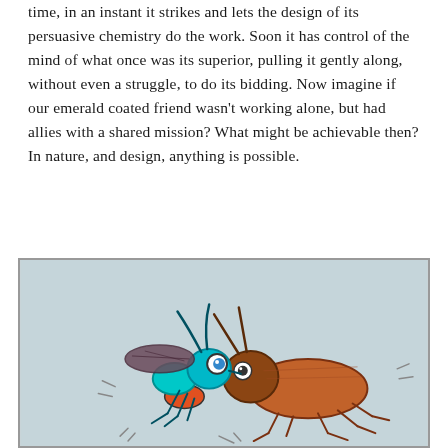time, in an instant it strikes and lets the design of its persuasive chemistry do the work. Soon it has control of the mind of what once was its superior, pulling it gently along, without even a struggle, to do its bidding. Now imagine if our emerald coated friend wasn't working alone, but had allies with a shared mission? What might be achievable then? In nature, and design, anything is possible.
[Figure (illustration): Cartoon illustration of a teal/cyan jewel wasp facing a brown cockroach, both depicted in a cartoonish style with exaggerated eyes, on a light gray-blue background. The wasp appears to be confronting or stinging the cockroach.]